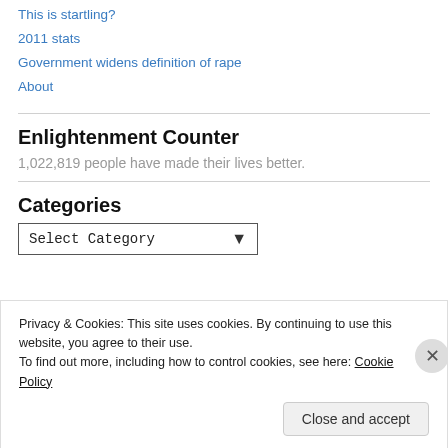This is startling?
2011 stats
Government widens definition of rape
About
Enlightenment Counter
1,022,819 people have made their lives better.
Categories
Select Category
Privacy & Cookies: This site uses cookies. By continuing to use this website, you agree to their use.
To find out more, including how to control cookies, see here: Cookie Policy
Close and accept